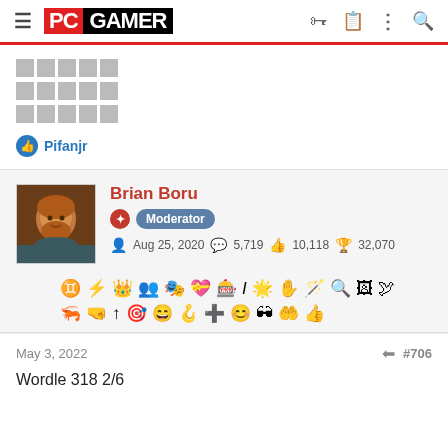PC GAMER
█████ █████ █████ █████ █████ █████ █████ █████ █████
👍 Pifanjr
Brian Boru — Moderator — Aug 25, 2020 — 5,719 messages — 10,118 likes — 32,070 trophy points
May 3, 2022   #706
Wordle 318 2/6